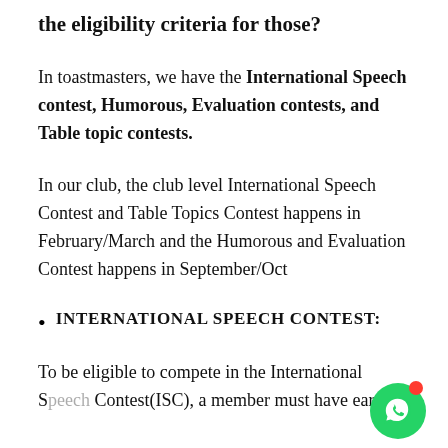the eligibility criteria for those?
In toastmasters, we have the International Speech contest, Humorous, Evaluation contests, and Table topic contests.
In our club, the club level International Speech Contest and Table Topics Contest happens in February/March and the Humorous and Evaluation Contest happens in September/Oct
INTERNATIONAL SPEECH CONTEST:
To be eligible to compete in the International S... Contest(ISC), a member must have earned